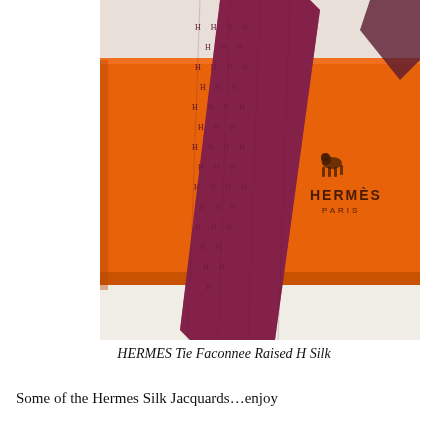[Figure (photo): A burgundy/dark red Hermes silk tie with raised H jacquard pattern laid diagonally across an orange Hermes Paris gift box on a white surface. The Hermes Paris logo with horse emblem is visible on the orange box.]
HERMES Tie Faconnee Raised H Silk
Some of the Hermes Silk Jacquards…enjoy